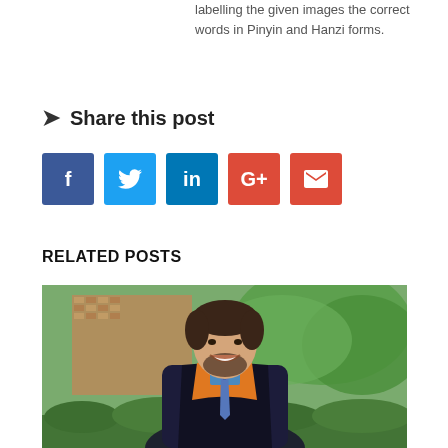labelling the given images the correct words in Pinyin and Hanzi forms.
Share this post
[Figure (infographic): Social sharing buttons: Facebook (blue), Twitter (light blue), LinkedIn (dark blue), Google+ (red), Email (red)]
RELATED POSTS
[Figure (photo): A smiling man with a beard wearing a black academic graduation gown with an orange sash and a blue tie, standing outdoors in front of green foliage and a brick building.]